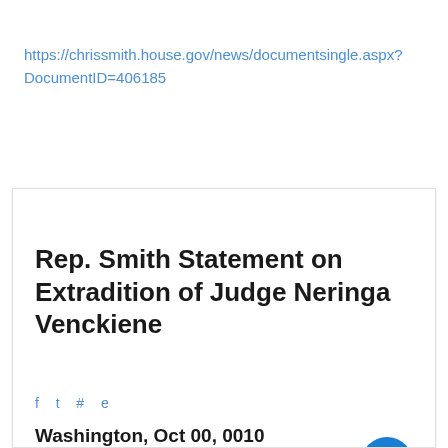https://chrissmith.house.gov/news/documentsingle.aspx?DocumentID=406185
Rep. Smith Statement on Extradition of Judge Neringa Venckiene
f t # e
Washington, Oct 00, 0010